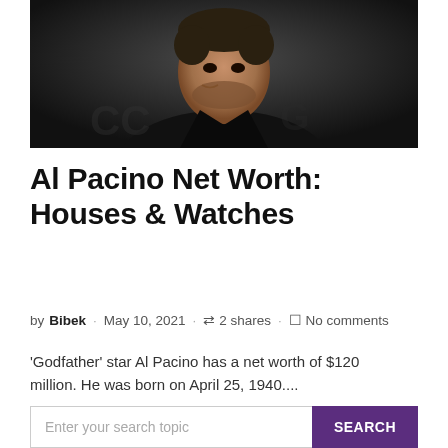[Figure (photo): Photo of Al Pacino wearing black jacket against dark background]
Al Pacino Net Worth: Houses & Watches
by Bibek · May 10, 2021 · 2 shares · No comments
'Godfather' star Al Pacino has a net worth of $120 million. He was born on April 25, 1940....